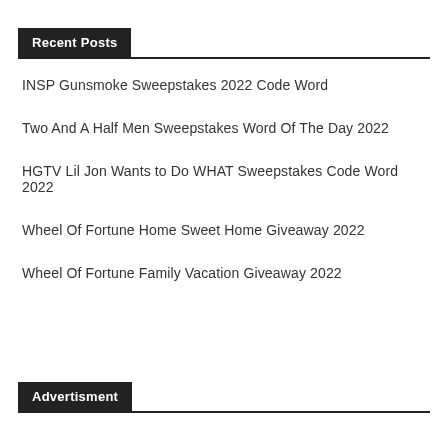Recent Posts
INSP Gunsmoke Sweepstakes 2022 Code Word
Two And A Half Men Sweepstakes Word Of The Day 2022
HGTV Lil Jon Wants to Do WHAT Sweepstakes Code Word 2022
Wheel Of Fortune Home Sweet Home Giveaway 2022
Wheel Of Fortune Family Vacation Giveaway 2022
Advertisment